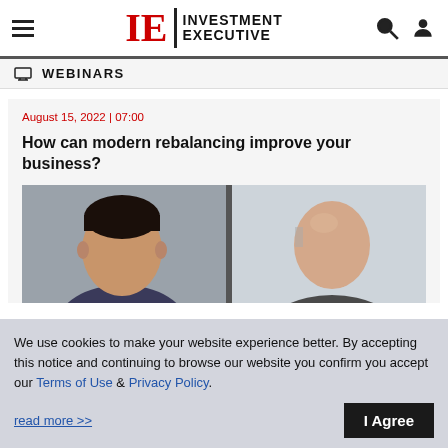IE | INVESTMENT EXECUTIVE
WEBINARS
August 15, 2022 | 07:00
How can modern rebalancing improve your business?
[Figure (photo): Two people photographed from chest up, one with dark hair on the left and one bald on the right, in an office-like setting]
We use cookies to make your website experience better. By accepting this notice and continuing to browse our website you confirm you accept our Terms of Use & Privacy Policy.

read more >>   I Agree